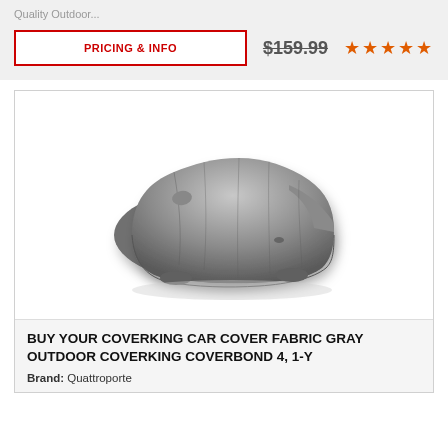Quality Outdoor...
PRICING & INFO
$159.99
[Figure (photo): A gray car cover draped over a vehicle, photographed against a white background. The cover is made of a smooth gray fabric and fully encloses the vehicle shape.]
BUY YOUR COVERKING CAR COVER FABRIC GRAY OUTDOOR COVERKING COVERBOND 4, 1-Y
Brand: Quattroporte